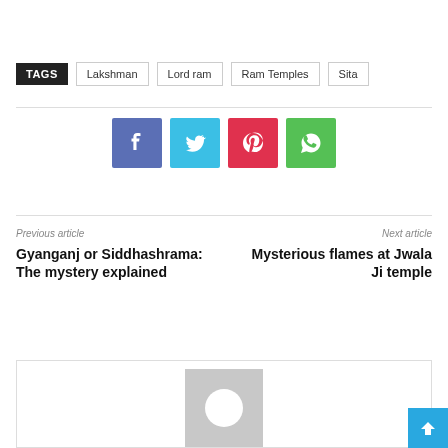TAGS  Lakshman  Lord ram  Ram Temples  Sita
[Figure (infographic): Social share buttons: Facebook (blue), Twitter (light blue), Pinterest (red), WhatsApp (green)]
Previous article
Gyanganj or Siddhashrama: The mystery explained
Next article
Mysterious flames at Jwala Ji temple
[Figure (photo): Author avatar placeholder — grey square with white circle]